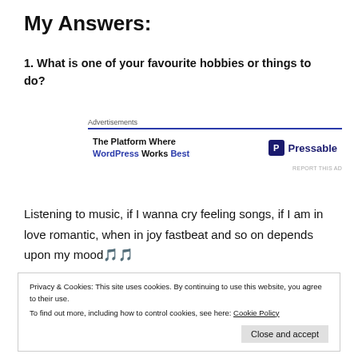My Answers:
1. What is one of your favourite hobbies or things to do?
[Figure (screenshot): Advertisement banner for Pressable: 'The Platform Where WordPress Works Best' with Pressable logo]
Listening to music, if I wanna cry feeling songs, if I am in love romantic, when in joy fastbeat and so on depends upon my mood🎵🎵
Privacy & Cookies: This site uses cookies. By continuing to use this website, you agree to their use.
To find out more, including how to control cookies, see here: Cookie Policy